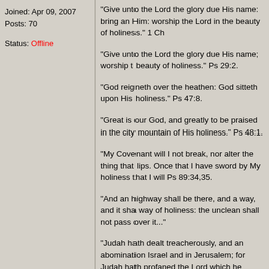Joined: Apr 09, 2007
Posts: 70
Status: Offline
"Give unto the Lord the glory due His name: bring an Him: worship the Lord in the beauty of holiness." 1 Ch
"Give unto the Lord the glory due His name; worship the beauty of holiness." Ps 29:2.
"God reigneth over the heathen: God sitteth upon His holiness." Ps 47:8.
"Great is our God, and greatly to be praised in the city mountain of His holiness." Ps 48:1.
"My Covenant will I not break, nor alter the thing that lips. Once that I have sword by My holiness that I will Ps 89:34,35.
"And an highway shall be there, and a way, and it sha way of holiness: the unclean shall not pass over it..."
"Judah hath dealt treacherously, and an abomination Israel and in Jerusalem; for Judah hath profaned the Lord which he loved, and hath married the daughter c Mal 2:11.
"And declared to be the Son of God with power, acco holiness, by the resurrection of the dead." Rom 1:4.
"But now being made free from sin, and become the s have your fruit unto holiness, AND THE END EVERL. Rom 6:22.
"Having therefore these promises, dearly beloved, le